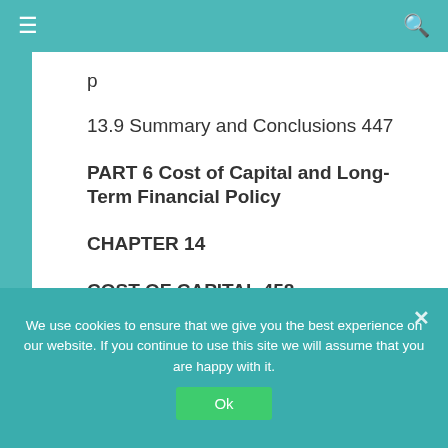≡  🔍
p
13.9 Summary and Conclusions 447
PART 6 Cost of Capital and Long-Term Financial Policy
CHAPTER 14
COST OF CAPITAL 458
We use cookies to ensure that we give you the best experience on our website. If you continue to use this site we will assume that you are happy with it.
Ok